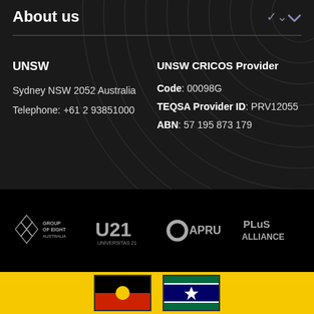About us
UNSW
Sydney NSW 2052 Australia
Telephone: +61 2 93851000
UNSW CRICOS Provider
Code: 00098G
TEQSA Provider ID: PRV12055
ABN: 57 195 873 179
[Figure (logo): Group of Eight Australia logo, U21 Universitas 21 logo, APRU logo, PLuS Alliance logo]
[Figure (illustration): Australian Aboriginal Flag and Torres Strait Islander Flag on yellow background]